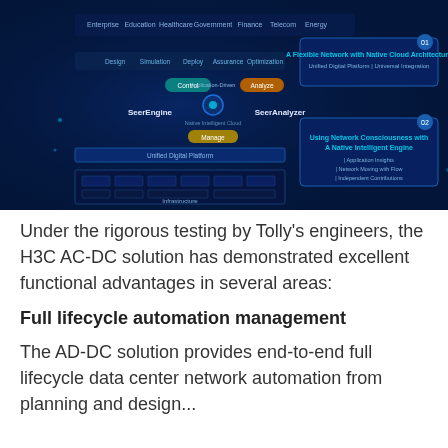[Figure (infographic): H3C AC-DC network architecture diagram on dark blue background showing SeerEngine, SeerAnalyzer, Unified Digital Platform, Infrastructure layers, and callout boxes for 'A Flexible Network with Native Cloud Architecture' and 'Using Network Consciousness with A Native Intelligent Engine']
Under the rigorous testing by Tolly's engineers, the H3C AC-DC solution has demonstrated excellent functional advantages in several areas:
Full lifecycle automation management
The AD-DC solution provides end-to-end full lifecycle data center network automation from planning and design...